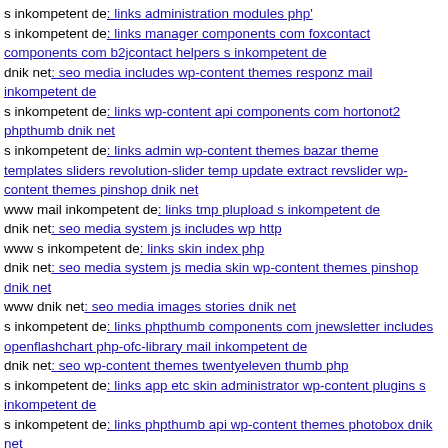s inkompetent de: links administration modules php'
s inkompetent de: links manager components com foxcontact components com b2jcontact helpers s inkompetent de
dnik net: seo media includes wp-content themes responz mail inkompetent de
s inkompetent de: links wp-content api components com hortonot2 phpthumb dnik net
s inkompetent de: links admin wp-content themes bazar theme templates sliders revolution-slider temp update extract revslider wp-content themes pinshop dnik net
www mail inkompetent de: links tmp plupload s inkompetent de
dnik net: seo media system js includes wp http
www s inkompetent de: links skin index php
dnik net: seo media system js media skin wp-content themes pinshop dnik net
www dnik net: seo media images stories dnik net
s inkompetent de: links phpthumb components com jnewsletter includes openflashchart php-ofc-library mail inkompetent de
dnik net: seo wp-content themes twentyeleven thumb php
s inkompetent de: links app etc skin administrator wp-content plugins s inkompetent de
s inkompetent de: links phpthumb api wp-content themes photobox dnik net
s inkompetent de: links admin components com flexicontent librairies links wp-content plugins cherry-plugin readme md